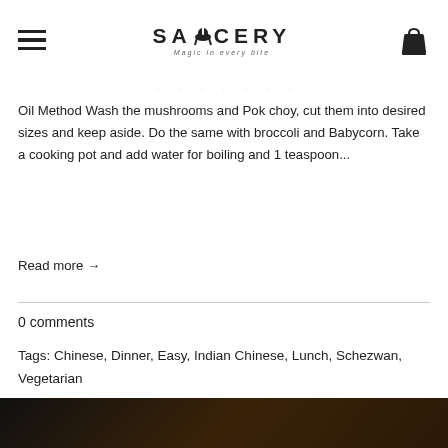SAUCERY — Magic in every bite
Oil Method Wash the mushrooms and Pok choy, cut them into desired sizes and keep aside. Do the same with broccoli and Babycorn. Take a cooking pot and add water for boiling and 1 teaspoon...
Read more →
0 comments
Tags: Chinese, Dinner, Easy, Indian Chinese, Lunch, Schezwan, Vegetarian
[Figure (photo): Partially visible food photograph at the bottom of the page, dark background with warm tones suggesting a cooked dish.]